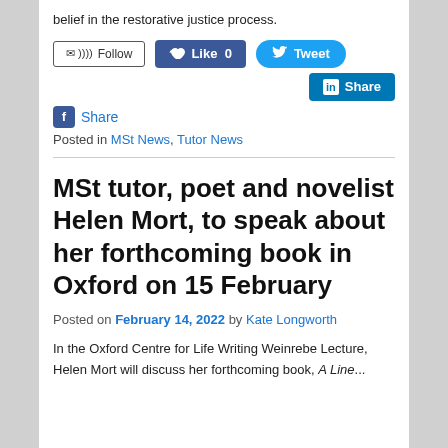belief in the restorative justice process.
[Figure (screenshot): Social sharing buttons: Follow (email/RSS), Like 0 (Facebook), Tweet (Twitter), Share (LinkedIn), Share (Facebook)]
Posted in MSt News, Tutor News
MSt tutor, poet and novelist Helen Mort, to speak about her forthcoming book in Oxford on 15 February
Posted on February 14, 2022 by Kate Longworth
In the Oxford Centre for Life Writing Weinrebe Lecture, Helen Mort will discuss her forthcoming book, A Line...